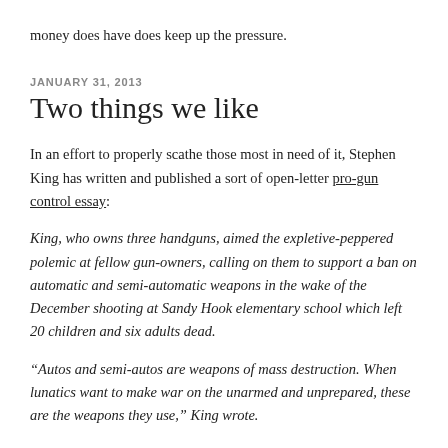money does have does keep up the pressure.
JANUARY 31, 2013
Two things we like
In an effort to properly scathe those most in need of it, Stephen King has written and published a sort of open-letter pro-gun control essay:
King, who owns three handguns, aimed the expletive-peppered polemic at fellow gun-owners, calling on them to support a ban on automatic and semi-automatic weapons in the wake of the December shooting at Sandy Hook elementary school which left 20 children and six adults dead.
“Autos and semi-autos are weapons of mass destruction. When lunatics want to make war on the unarmed and unprepared, these are the weapons they use,” King wrote.
He said blanket opposition to gun control was less about defending the second amendment of the US constitution than “a stubborn desire to hold onto what they have, and to hell